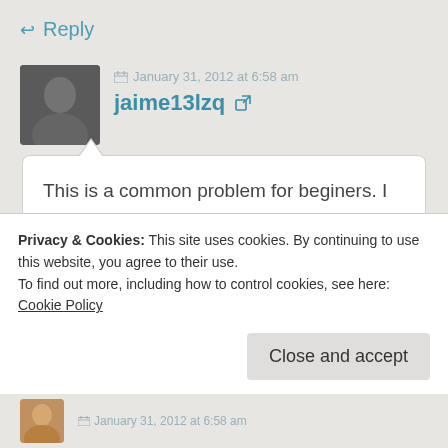↩ Reply
January 31, 2012 at 6:58 am
jaime13lzq ↗
This is a common problem for beginers. I will never have it because...
Euhh... I dón´t know how to finish.
Privacy & Cookies: This site uses cookies. By continuing to use this website, you agree to their use.
To find out more, including how to control cookies, see here: Cookie Policy
Close and accept